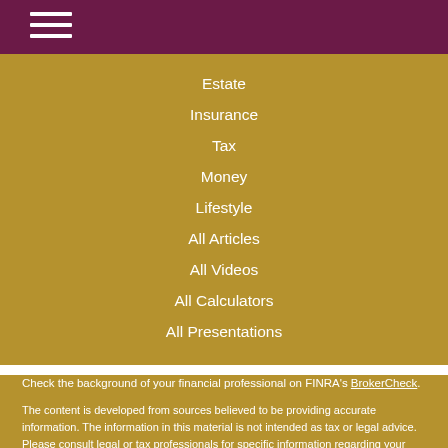Estate
Insurance
Tax
Money
Lifestyle
All Articles
All Videos
All Calculators
All Presentations
Check the background of your financial professional on FINRA's BrokerCheck.
The content is developed from sources believed to be providing accurate information. The information in this material is not intended as tax or legal advice. Please consult legal or tax professionals for specific information regarding your individual situation. Some of this material was developed and produced by FMG Suite to provide information on a topic that may be of interest. FMG Suite is not affiliated with the named representative, broker - dealer, state - or SEC - registered investment advisory firm. The opinions expressed and material provided are for general information, and should not be considered a solicitation for the purchase or sale of any security.
Contact Us